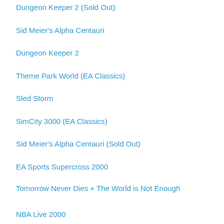Dungeon Keeper 2 (Sold Out) | Electronic Arts
Sid Meier's Alpha Centauri | Electronic Arts
Dungeon Keeper 2 | Electronic Arts
Theme Park World (EA Classics) | Electronic Arts
Sled Storm | Electronic Arts
SimCity 3000 (EA Classics) | Electronic Arts
Sid Meier's Alpha Centauri (Sold Out) | Electronic Arts
EA Sports Supercross 2000 | Electronic Arts
Tomorrow Never Dies + The World is Not Enough | Electronic Arts
NBA Live 2000 | Electronic Arts
FIFA 2000 | Electronic Arts
007 Tomorrow Never Dies | Electronic Arts
Tiger Woods PGA Tour 2000 | Electronic Arts
Tiger Woods PGA Tour Golf | Electronic Arts